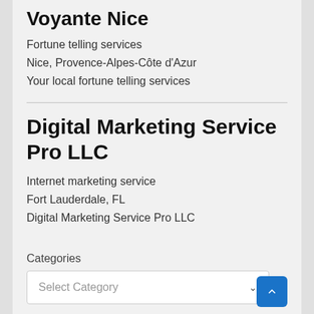Voyante Nice
Fortune telling services
Nice, Provence-Alpes-Côte d'Azur
Your local fortune telling services
Digital Marketing Service Pro LLC
Internet marketing service
Fort Lauderdale, FL
Digital Marketing Service Pro LLC
Categories
Select Category